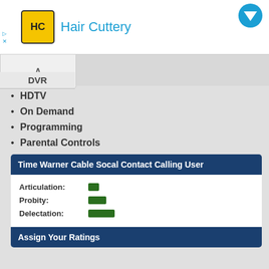[Figure (logo): Hair Cuttery advertisement banner with yellow logo and blue text]
DVR
HDTV
On Demand
Programming
Parental Controls
Time Warner Cable Socal Contact Calling User
Articulation:
Probity:
Delectation:
Assign Your Ratings